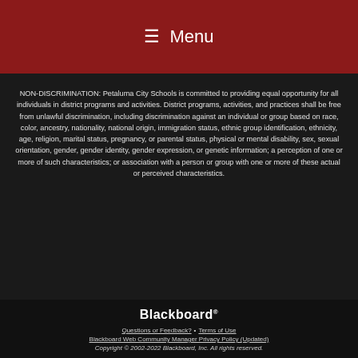☰ Menu
NON-DISCRIMINATION: Petaluma City Schools is committed to providing equal opportunity for all individuals in district programs and activities. District programs, activities, and practices shall be free from unlawful discrimination, including discrimination against an individual or group based on race, color, ancestry, nationality, national origin, immigration status, ethnic group identification, ethnicity, age, religion, marital status, pregnancy, or parental status, physical or mental disability, sex, sexual orientation, gender, gender identity, gender expression, or genetic information; a perception of one or more of such characteristics; or association with a person or group with one or more of these actual or perceived characteristics.
[Figure (logo): Blackboard logo in white text]
Questions or Feedback? • Terms of Use
Blackboard Web Community Manager Privacy Policy (Updated)
Copyright © 2002-2022 Blackboard, Inc. All rights reserved.